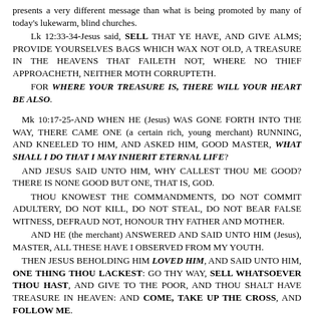presents a very different message than what is being promoted by many of today's lukewarm, blind churches.
Lk 12:33-34-Jesus said, SELL THAT YE HAVE, AND GIVE ALMS; PROVIDE YOURSELVES BAGS WHICH WAX NOT OLD, A TREASURE IN THE HEAVENS THAT FAILETH NOT, WHERE NO THIEF APPROACHETH, NEITHER MOTH CORRUPTETH.
FOR WHERE YOUR TREASURE IS, THERE WILL YOUR HEART BE ALSO.
Mk 10:17-25-AND WHEN HE (Jesus) WAS GONE FORTH INTO THE WAY, THERE CAME ONE (a certain rich, young merchant) RUNNING, AND KNEELED TO HIM, AND ASKED HIM, GOOD MASTER, WHAT SHALL I DO THAT I MAY INHERIT ETERNAL LIFE?
AND JESUS SAID UNTO HIM, WHY CALLEST THOU ME GOOD? THERE IS NONE GOOD BUT ONE, THAT IS, GOD.
THOU KNOWEST THE COMMANDMENTS, DO NOT COMMIT ADULTERY, DO NOT KILL, DO NOT STEAL, DO NOT BEAR FALSE WITNESS, DEFRAUD NOT, HONOUR THY FATHER AND MOTHER.
AND HE (the merchant) ANSWERED AND SAID UNTO HIM (Jesus), MASTER, ALL THESE HAVE I OBSERVED FROM MY YOUTH.
THEN JESUS BEHOLDING HIM LOVED HIM, AND SAID UNTO HIM, ONE THING THOU LACKEST: GO THY WAY, SELL WHATSOEVER THOU HAST, AND GIVE TO THE POOR, AND THOU SHALT HAVE TREASURE IN HEAVEN: AND COME, TAKE UP THE CROSS, AND FOLLOW ME.
AND HE WAS SAD AT THAT SAYING, AND WENT AWAY GRIEVED: FOR HE HAD GREAT POSSESSIONS.
AND JESUS LOOKED ROUND ABOUT, AND SAITH UNTO HIS